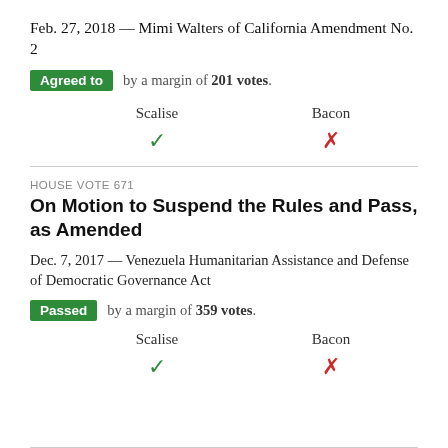Feb. 27, 2018 — Mimi Walters of California Amendment No. 2
Agreed to by a margin of 201 votes.
| Scalise | Bacon |
| --- | --- |
| ✓ | ✗ |
HOUSE VOTE 671
On Motion to Suspend the Rules and Pass, as Amended
Dec. 7, 2017 — Venezuela Humanitarian Assistance and Defense of Democratic Governance Act
Passed by a margin of 359 votes.
| Scalise | Bacon |
| --- | --- |
| ✓ | ✗ |